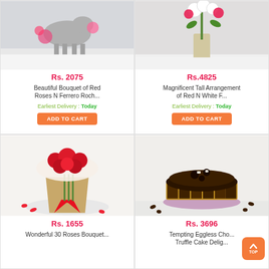[Figure (photo): Product card top-left: photo of a horse figurine with flowers arrangement, price Rs. 2075, Beautiful Bouquet of Red Roses N Ferrero Roch...]
Rs. 2075
Beautiful Bouquet of Red Roses N Ferrero Roch...
Earliest Delivery : Today
ADD TO CART
[Figure (photo): Product card top-right: photo of a tall floral arrangement with red and white flowers, price Rs.4825, Magnificent Tall Arrangement of Red N White F...]
Rs.4825
Magnificent Tall Arrangement of Red N White F...
Earliest Delivery : Today
ADD TO CART
[Figure (photo): Product card bottom-left: photo of a bouquet of 30 red roses with baby's breath and red ribbon, price Rs. 1655, Wonderful 30 Roses Bouquet...]
Rs. 1655
Wonderful 30 Roses Bouquet...
[Figure (photo): Product card bottom-right: photo of a round chocolate truffle cake with chocolate decorations, price Rs. 3696, Tempting Eggless Cho... Truffle Cake Delig...]
Rs. 3696
Tempting Eggless Cho... Truffle Cake Delig...